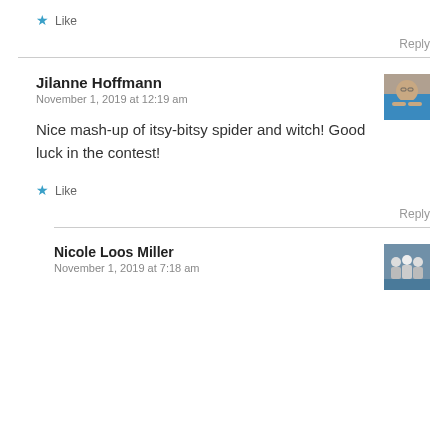★ Like
Reply
Jilanne Hoffmann
November 1, 2019 at 12:19 am
[Figure (photo): Avatar photo of a man in a blue shirt with arms crossed]
Nice mash-up of itsy-bitsy spider and witch! Good luck in the contest!
★ Like
Reply
Nicole Loos Miller
November 1, 2019 at 7:18 am
[Figure (photo): Avatar photo showing a group of people outdoors]